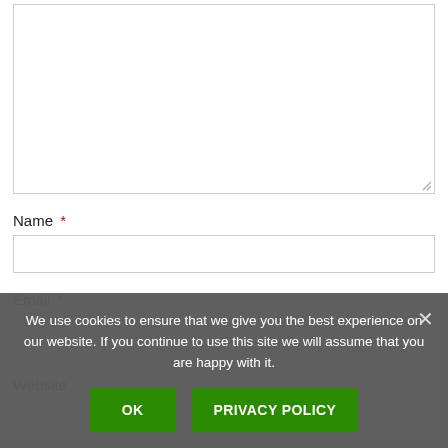[Figure (screenshot): A large textarea form field with a resize handle in the bottom-right corner, shown at the top of the page.]
Name *
[Figure (screenshot): A text input box for the Name field.]
Email *
Website
We use cookies to ensure that we give you the best experience on our website. If you continue to use this site we will assume that you are happy with it.
OK
PRIVACY POLICY